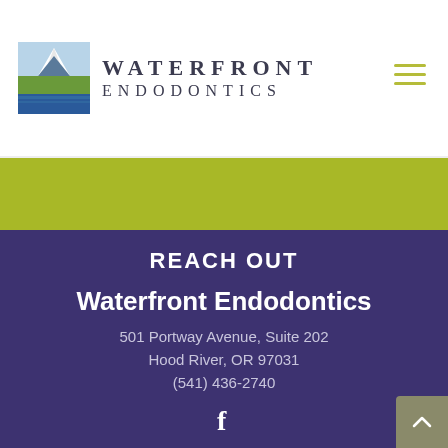[Figure (logo): Waterfront Endodontics logo with mountain/lake landscape image and text WATERFRONT ENDODONTICS in serif font]
REACH OUT
Waterfront Endodontics
501 Portway Avenue, Suite 202
Hood River, OR 97031
(541) 436-2740
[Figure (illustration): Facebook social media icon (f)]